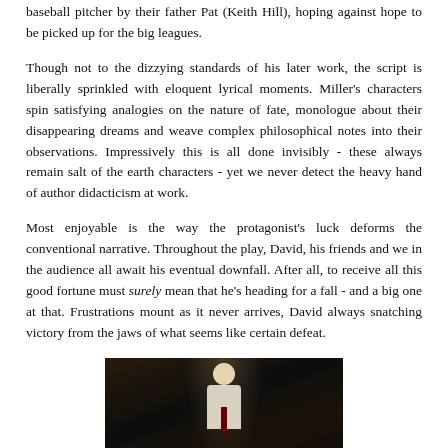baseball pitcher by their father Pat (Keith Hill), hoping against hope to be picked up for the big leagues.
Though not to the dizzying standards of his later work, the script is liberally sprinkled with eloquent lyrical moments. Miller's characters spin satisfying analogies on the nature of fate, monologue about their disappearing dreams and weave complex philosophical notes into their observations. Impressively this is all done invisibly - these always remain salt of the earth characters - yet we never detect the heavy hand of author didacticism at work.
Most enjoyable is the way the protagonist's luck deforms the conventional narrative. Throughout the play, David, his friends and we in the audience all await his eventual downfall. After all, to receive all this good fortune must surely mean that he's heading for a fall - and a big one at that. Frustrations mount as it never arrives, David always snatching victory from the jaws of what seems like certain defeat.
[Figure (photo): A stage photo showing a performer in a white shirt and dark red tie on a dimly lit stage.]